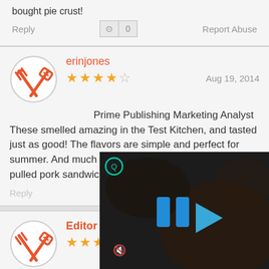bought pie crust!
Reply   Report Abuse
erinjones
★★★★☆   Aug 19, 2014
Prime Publishing Marketing Analyst These smelled amazing in the Test Kitchen, and tasted just as good! The flavors are simple and perfect for summer. And much less messy than a regular, sloppy pulled pork sandwich!
Reply   Report Abuse
Editor Kait
★★★★
Our winner loved your recipe nam suggestion: No Pork BBQ P
[Figure (screenshot): Video overlay with dark background, blue play controls, circular green icon top-left, mute icon bottom-left]